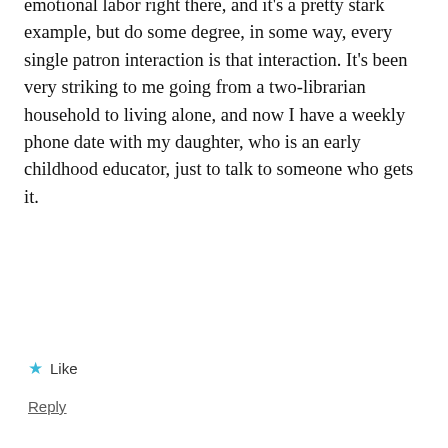emotional labor right there, and it's a pretty stark example, but do some degree, in some way, every single patron interaction is that interaction. It's been very striking to me going from a two-librarian household to living alone, and now I have a weekly phone date with my daughter, who is an early childhood educator, just to talk to someone who gets it.
★ Like
Reply
rsuntop
May 26, 2017 at 12:06 pm